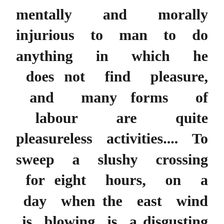mentally and morally injurious to man to do anything in which he does not find pleasure, and many forms of labour are quite pleasureless activities.... To sweep a slushy crossing for eight hours, on a day when the east wind is blowing is a disgusting occupation. To sweep it with mental, moral,